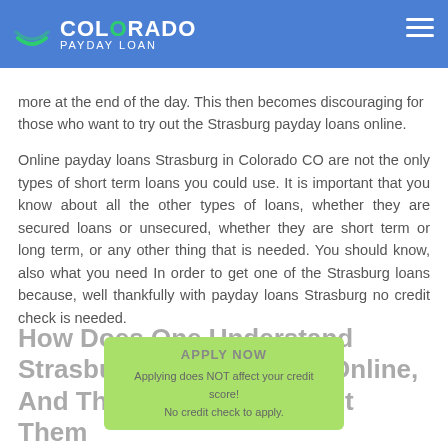Colorado Payday Loan
more at the end of the day. This then becomes discouraging for those who want to try out the Strasburg payday loans online.
Online payday loans Strasburg in Colorado CO are not the only types of short term loans you could use. It is important that you know about all the other types of loans, whether they are secured loans or unsecured, whether they are short term or long term, or any other thing that is needed. You should know, also what you need In order to get one of the Strasburg loans because, well thankfully with payday loans Strasburg no credit check is needed.
How Does One Understand Strasburg Payday Loans Online, And The Information About Them